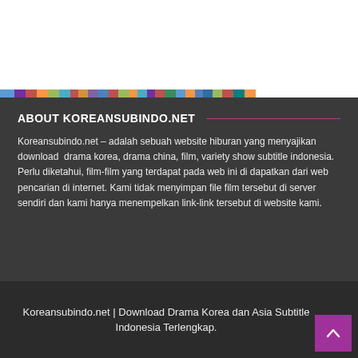[Figure (other): Colorful horizontal stripe bar at top of dark section]
ABOUT KOREANSUBINDO.NET
Koreansubindo.net – adalah sebuah website hiburan yang menyajikan download drama korea, drama china, film, variety show subtitle indonesia. Perlu diketahui, film-film yang terdapat pada web ini di dapatkan dari web pencarian di internet. Kami tidak menyimpan file film tersebut di server sendiri dan kami hanya menempelkan link-link tersebut di website kami.
Koreansubindo.net | Download Drama Korea dan Asia Subtitle Indonesia Terlengkap.